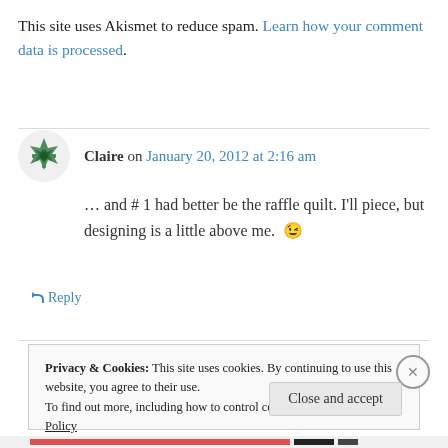This site uses Akismet to reduce spam. Learn how your comment data is processed.
Claire on January 20, 2012 at 2:16 am
… and # 1 had better be the raffle quilt. I'll piece, but designing is a little above me. 😉
↳ Reply
Privacy & Cookies: This site uses cookies. By continuing to use this website, you agree to their use.
To find out more, including how to control cookies, see here: Cookie Policy
Close and accept